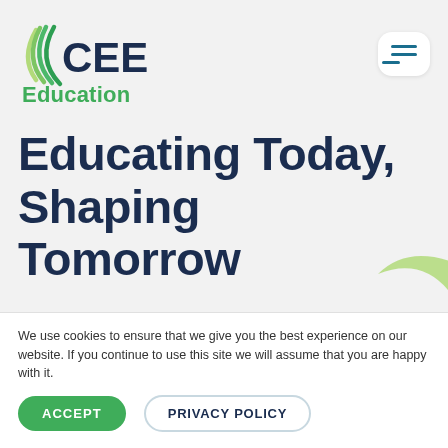[Figure (logo): CEE logo with green concentric arc lines and dark blue CEE text]
Education
Educating Today, Shaping Tomorrow
CEE helps youth gain
We use cookies to ensure that we give you the best experience on our website. If you continue to use this site we will assume that you are happy with it.
ACCEPT   PRIVACY POLICY